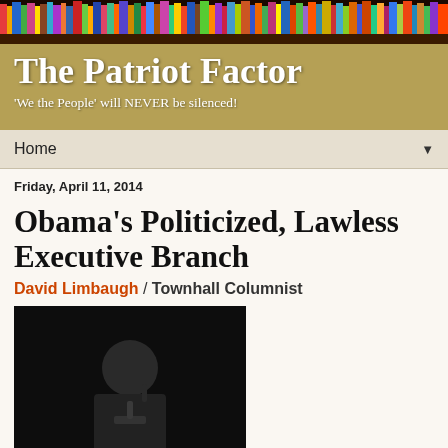The Patriot Factor
'We the People' will NEVER be silenced!
Home ▼
Friday, April 11, 2014
Obama's Politicized, Lawless Executive Branch
David Limbaugh / Townhall Columnist
[Figure (photo): Photo of President Barack Obama speaking at a podium with microphones, raising one finger, dark background]
Under the administration of President Barack Obama, as never